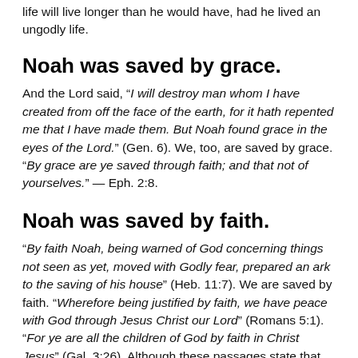life will live longer than he would have, had he lived an ungodly life.
Noah was saved by grace.
And the Lord said, “I will destroy man whom I have created from off the face of the earth, for it hath repented me that I have made them. But Noah found grace in the eyes of the Lord.” (Gen. 6). We, too, are saved by grace. “By grace are ye saved through faith; and that not of yourselves.” — Eph. 2:8.
Noah was saved by faith.
“By faith Noah, being warned of God concerning things not seen as yet, moved with Godly fear, prepared an ark to the saving of his house” (Heb. 11:7). We are saved by faith. “Wherefore being justified by faith, we have peace with God through Jesus Christ our Lord” (Romans 5:1). “For ye are all the children of God by faith in Christ Jesus” (Gal. 3:26). Although these passages state that we